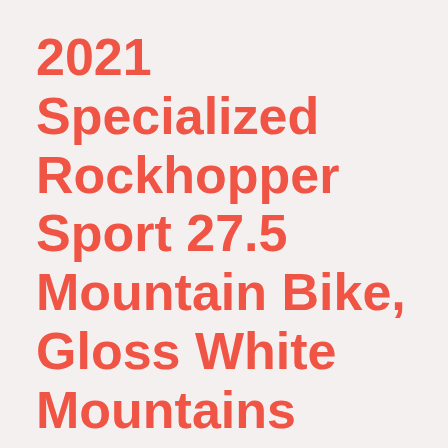2021 Specialized Rockhopper Sport 27.5 Mountain Bike, Gloss White Mountains
$975.00
Color
Size
Gloss White Mountain ∨
Medium ∨
CONTACT US TO SPECIAL ORDER
PLEASE NOTE: Bicycles purchases are in-store